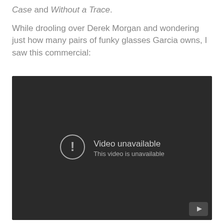Case and Without a Trace.

While drooling over Derek Morgan and wondering just how many pairs of funky glasses Garcia owns, I saw this commercial:
[Figure (screenshot): Embedded YouTube video player showing 'Video unavailable - This video is unavailable' error message on a dark background, with a YouTube logo button in the bottom right corner.]